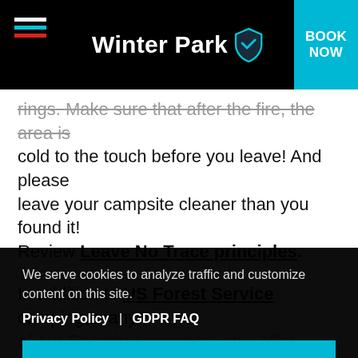Winter Park
rings. Make sure that after the fire, the area is cold to the touch before you leave! And please leave your campsite cleaner than you found it! Review Leave No Trace principles.
In addition to US Forest Service camping, many of our Chamber members also offer incredible
We serve cookies to analyze traffic and customize content on this site.
Privacy Policy | GDPR FAQ
GOT IT!